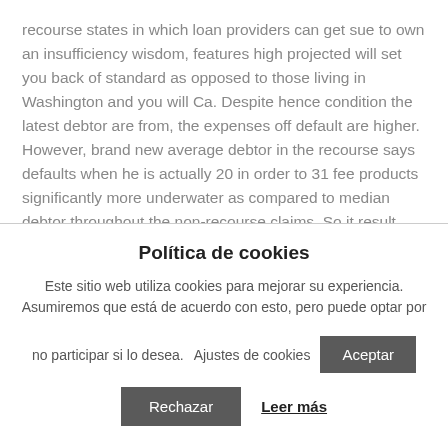recourse states in which loan providers can get sue to own an insufficiency wisdom, features high projected will set you back of standard as opposed to those living in Washington and you will Ca. Despite hence condition the latest debtor are from, the expenses off default are higher. However, brand new average debtor in the recourse says defaults when he is actually 20 in order to 31 fee products significantly more underwater as compared to median debtor throughout the non-recourse claims. So it result signifies that borrowers may factor for the will set you back off default the
Política de cookies
Este sitio web utiliza cookies para mejorar su experiencia. Asumiremos que está de acuerdo con esto, pero puede optar por no participar si lo desea.
Ajustes de cookies
Aceptar
Rechazar
Leer más